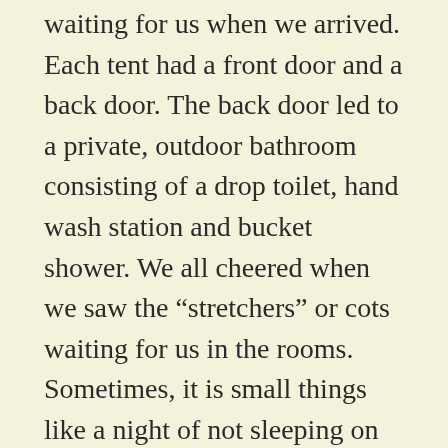waiting for us when we arrived. Each tent had a front door and a back door. The back door led to a private, outdoor bathroom consisting of a drop toilet, hand wash station and bucket shower. We all cheered when we saw the “stretchers” or cots waiting for us in the rooms. Sometimes, it is small things like a night of not sleeping on the ground to bring joy to an adventure.
The area was completely peaceful. No traffic. No city noise. No construction. No hustle or bustle. No Wi-Fi. No television. Just green trees, tall reeds, birds singing and